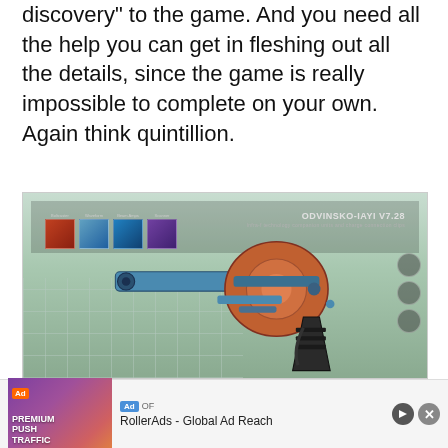discovery to the game. And you need all the help you can get in fleshing out all the details, since the game is really impossible to complete on your own. Again think quintillion.
[Figure (screenshot): In-game screenshot showing a multi-tool weapon (ODVINSKO-IAYI V7.28) from what appears to be No Man's Sky, displayed over an alien landscape. The HUD shows weapon upgrade slots at the top left labeled Boltcaster, Waveform, Beam Amps, Scanner.]
— blurred/partially visible text below image —
[Figure (other): Advertisement banner: RollerAds - Global Ad Reach, with PREMIUM PUSH TRAFFIC label and a woman in white clothing.]